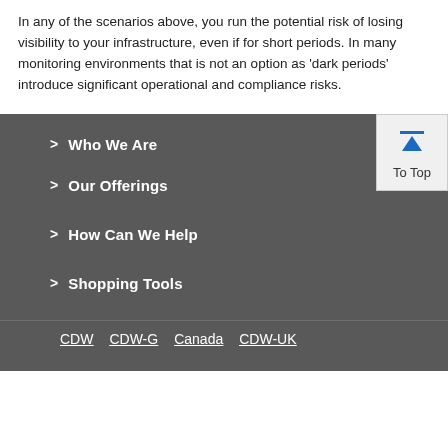In any of the scenarios above, you run the potential risk of losing visibility to your infrastructure, even if for short periods. In many monitoring environments that is not an option as 'dark periods' introduce significant operational and compliance risks.
Who We Are
Our Offerings
How Can We Help
Shopping Tools
CDW   CDW-G   Canada   CDW-UK